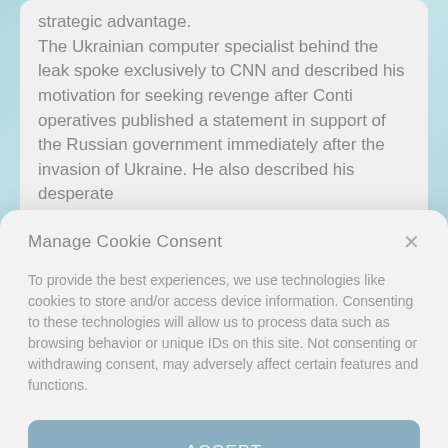strategic advantage. The Ukrainian computer specialist behind the leak spoke exclusively to CNN and described his motivation for seeking revenge after Conti operatives published a statement in support of the Russian government immediately after the invasion of Ukraine. He also described his desperate
Manage Cookie Consent
To provide the best experiences, we use technologies like cookies to store and/or access device information. Consenting to these technologies will allow us to process data such as browsing behavior or unique IDs on this site. Not consenting or withdrawing consent, may adversely affect certain features and functions.
ACCEPT
Privacy Policy